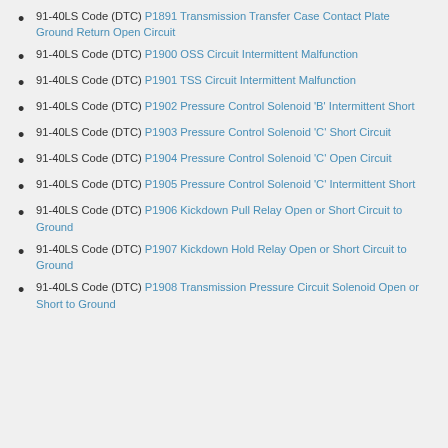91-40LS Code (DTC) P1891 Transmission Transfer Case Contact Plate Ground Return Open Circuit
91-40LS Code (DTC) P1900 OSS Circuit Intermittent Malfunction
91-40LS Code (DTC) P1901 TSS Circuit Intermittent Malfunction
91-40LS Code (DTC) P1902 Pressure Control Solenoid 'B' Intermittent Short
91-40LS Code (DTC) P1903 Pressure Control Solenoid 'C' Short Circuit
91-40LS Code (DTC) P1904 Pressure Control Solenoid 'C' Open Circuit
91-40LS Code (DTC) P1905 Pressure Control Solenoid 'C' Intermittent Short
91-40LS Code (DTC) P1906 Kickdown Pull Relay Open or Short Circuit to Ground
91-40LS Code (DTC) P1907 Kickdown Hold Relay Open or Short Circuit to Ground
91-40LS Code (DTC) P1908 Transmission Pressure Circuit Solenoid Open or Short to Ground